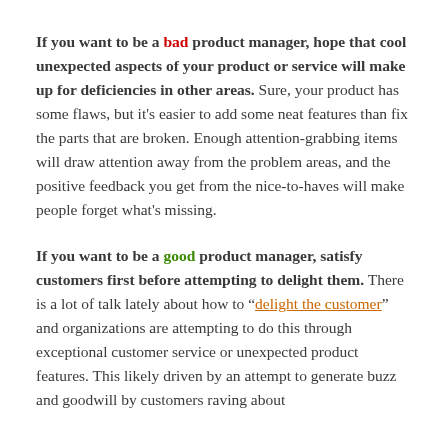If you want to be a bad product manager, hope that cool unexpected aspects of your product or service will make up for deficiencies in other areas. Sure, your product has some flaws, but it's easier to add some neat features than fix the parts that are broken. Enough attention-grabbing items will draw attention away from the problem areas, and the positive feedback you get from the nice-to-haves will make people forget what's missing.
If you want to be a good product manager, satisfy customers first before attempting to delight them. There is a lot of talk lately about how to "delight the customer," and organizations are attempting to do this through exceptional customer service or unexpected product features. This likely driven by an attempt to generate buzz and goodwill by customers raving about